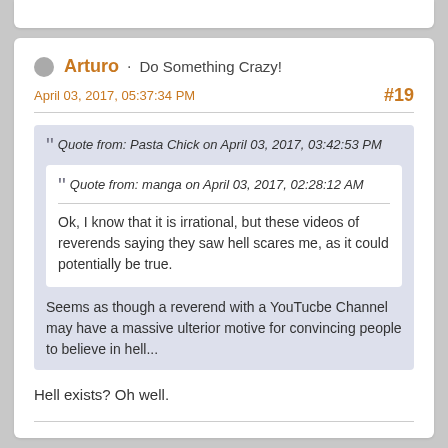Arturo · Do Something Crazy!
April 03, 2017, 05:37:34 PM
#19
Quote from: Pasta Chick on April 03, 2017, 03:42:53 PM
Quote from: manga on April 03, 2017, 02:28:12 AM
Ok, I know that it is irrational, but these videos of reverends saying they saw hell scares me, as it could potentially be true.
Seems as though a reverend with a YouTucbe Channel may have a massive ulterior motive for convincing people to believe in hell...
Hell exists? Oh well.